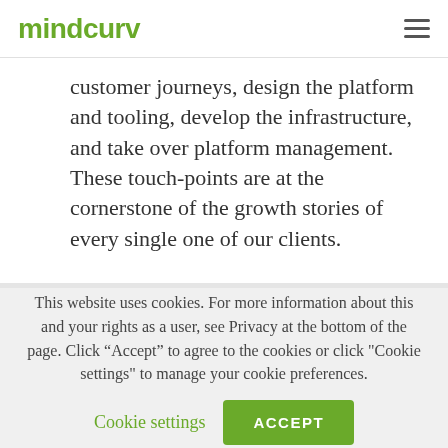mindcurv
customer journeys, design the platform and tooling, develop the infrastructure, and take over platform management. These touch-points are at the cornerstone of the growth stories of every single one of our clients.
This website uses cookies. For more information about this and your rights as a user, see Privacy at the bottom of the page. Click “Accept” to agree to the cookies or click "Cookie settings" to manage your cookie preferences.
Cookie settings
ACCEPT